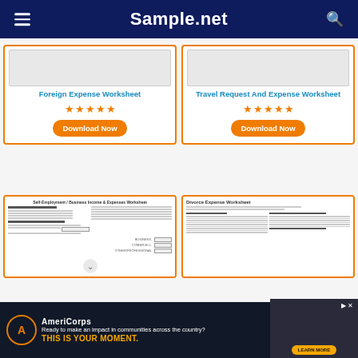Sample.net
Foreign Expense Worksheet
[Figure (other): Star rating: 5 stars (orange) for Foreign Expense Worksheet]
Download Now
Travel Request And Expense Worksheet
[Figure (other): Star rating: 5 stars (orange) for Travel Request And Expense Worksheet]
Download Now
[Figure (other): Thumbnail of Self-Employment / Business Income & Expenses Worksheet form]
[Figure (other): Thumbnail of Divorce Expense Worksheet form]
[Figure (other): AmeriCorps advertisement banner: Ready to make an impact in communities across the country? THIS IS YOUR MOMENT. LEARN MORE]